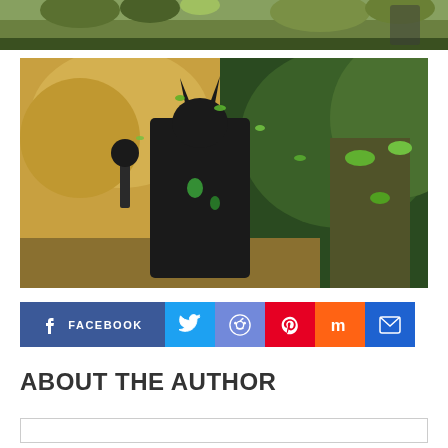[Figure (screenshot): Top strip of a video game screenshot showing a forest/outdoor environment with green foliage]
[Figure (screenshot): Video game screenshot showing a warrior character in dark spiked armor (likely Skyrim Daedric armor) fighting a tree creature, with autumn trees and green leaves in background]
FACEBOOK (social share buttons: Facebook, Twitter, Reddit, Pinterest, Mix, Email)
ABOUT THE AUTHOR